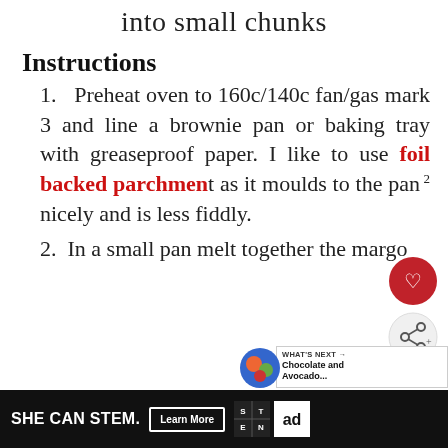into small chunks
Instructions
1. Preheat oven to 160c/140c fan/gas mark 3 and line a brownie pan or baking tray with greaseproof paper. I like to use foil backed parchment as it moulds to the pan nicely and is less fiddly.
2. In a small pan melt together the margo...
[Figure (other): Heart/like button overlay (red circle with heart icon), share button overlay, and What's Next recommendation panel showing Chocolate and Avocado...]
[Figure (other): SHE CAN STEM ad bar at bottom with Learn More button, STEM logo grid, and ad council logo]